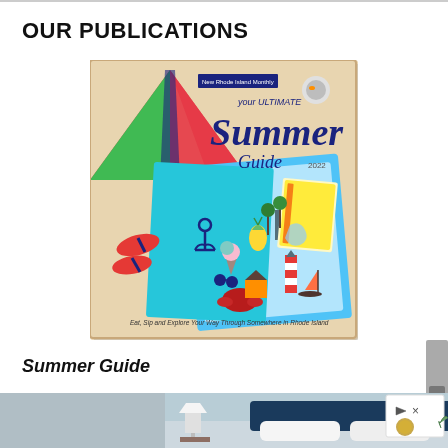OUR PUBLICATIONS
[Figure (illustration): Magazine cover: 'Your Ultimate Summer Guide 2022' with colorful beach-themed illustrations including flip flops, ice cream, anchor, pineapple, seagull, beach umbrella, and Rhode Island landmarks. Subtitle reads 'Eat, Sip and Explore Your Way Through Somewhere in Rhode Island']
Summer Guide
[Figure (photo): Bottom of page showing a partial bedroom photo with a blue headboard, white pillows, white lamp, and an advertisement badge overlay in the bottom right corner]